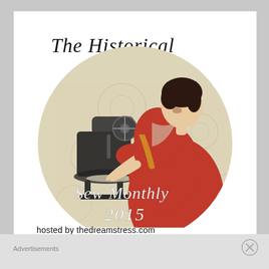[Figure (illustration): A vintage circular illustration of a woman in a red dress sewing at a black sewing machine, over a beige floral background. Overlaid text reads 'The Historical' at top in italic script, 'Sew Monthly' in white italic script mid-circle, '2015' in white italic script below that.]
hosted by thedreamstress.com
Advertisements